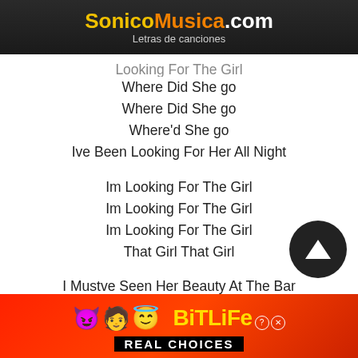SonicoMusica.com – Letras de canciones
Where Did She go
Where Did She go
Where'd She go
Ive Been Looking For Her All Night

Im Looking For The Girl
Im Looking For The Girl
Im Looking For The Girl
That Girl That Girl

I Mustve Seen Her Beauty At The Bar
Under The Strobe Lights
Looking Like A Star
(Looking Like A Star Girl)
But Everyone Started Rushing Me
Looking Through The Crowd
Shawty Left The Scene Oh!
[Figure (other): BitLife advertisement banner with emoji characters and 'REAL CHOICES' text]